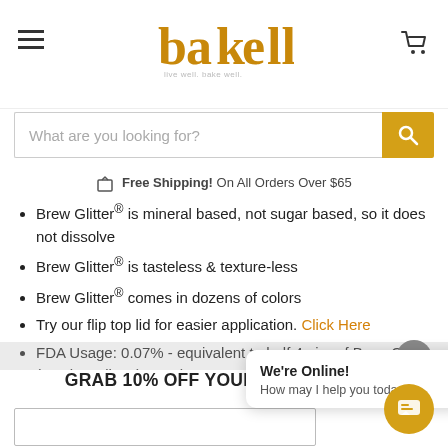bakell - live well. bake well.
What are you looking for?
Free Shipping! On All Orders Over $65
Brew Glitter® is mineral based, not sugar based, so it does not dissolve
Brew Glitter® is tasteless & texture-less
Brew Glitter® comes in dozens of colors
Try our flip top lid for easier application. Click Here
FDA Usage: 0.07% - equivalent to half 4g jar of Brew Glitter (0.7g) per liter (1000g)
GRAB 10% OFF YOUR FIRST ORDER
We're Online! How may I help you today?